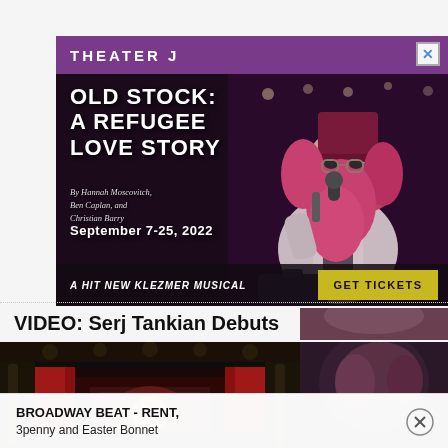[Figure (other): Theater J advertisement for 'Old Stock: A Refugee Love Story' showing a performer with curly red hair, top hat, and long beard holding a microphone, wearing a white coat. Purple header bar with 'THEATER J'. Text includes: 'OLD STOCK: A REFUGEE LOVE STORY', 'By Hannah Moscovitch, Ben Caplan, and Christian Barry', 'SEPTEMBER 7-25, 2022', 'A HIT NEW KLEZMER MUSICAL', 'GET TICKETS' button. Close X button top right.]
VIDEO: Serj Tankian Debuts
[Figure (screenshot): Video thumbnail showing a darkened theater interior with red curtains and a play button icon in the center. Dark atmospheric image of an ornate theater.]
BROADWAY BEAT - RENT, 3penny and Easter Bonnet